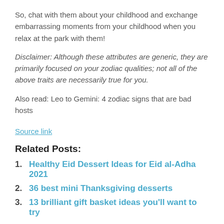So, chat with them about your childhood and exchange embarrassing moments from your childhood when you relax at the park with them!
Disclaimer: Although these attributes are generic, they are primarily focused on your zodiac qualities; not all of the above traits are necessarily true for you.
Also read: Leo to Gemini: 4 zodiac signs that are bad hosts
Source link
Related Posts:
Healthy Eid Dessert Ideas for Eid al-Adha 2021
36 best mini Thanksgiving desserts
13 brilliant gift basket ideas you'll want to try